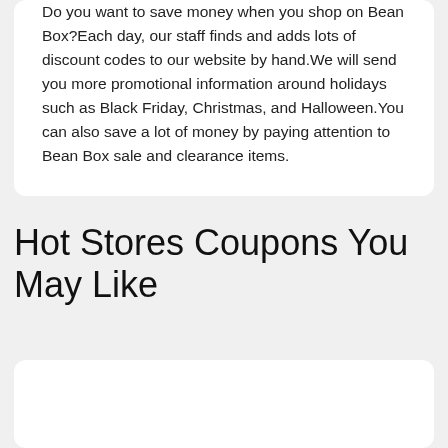Do you want to save money when you shop on Bean Box?Each day, our staff finds and adds lots of discount codes to our website by hand.We will send you more promotional information around holidays such as Black Friday, Christmas, and Halloween.You can also save a lot of money by paying attention to Bean Box sale and clearance items.
Hot Stores Coupons You May Like